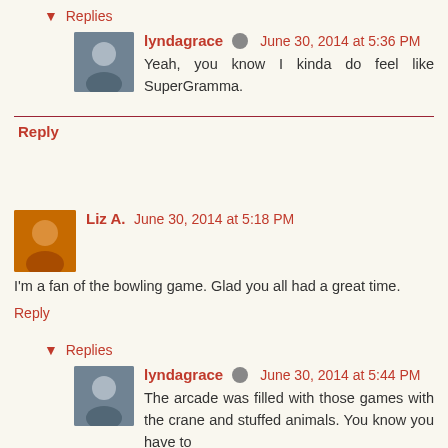▾ Replies
lyndagrace June 30, 2014 at 5:36 PM
Yeah, you know I kinda do feel like SuperGramma.
Reply
Liz A. June 30, 2014 at 5:18 PM
I'm a fan of the bowling game. Glad you all had a great time.
Reply
▾ Replies
lyndagrace June 30, 2014 at 5:44 PM
The arcade was filled with those games with the crane and stuffed animals. You know you have to